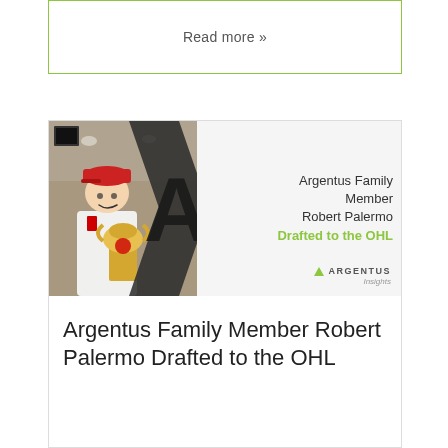Read more »
[Figure (photo): Argentus Family Member Robert Palermo Drafted to the OHL promotional image showing a young person in a red cap holding a trophy, with the Argentus logo and text overlay]
Argentus Family Member Robert Palermo Drafted to the OHL